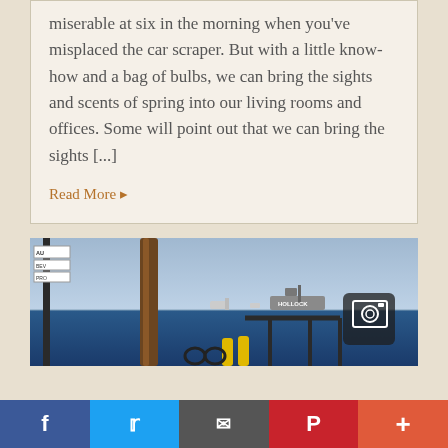miserable at six in the morning when you've misplaced the car scraper. But with a little know-how and a bag of bulbs, we can bring the sights and scents of spring into our living rooms and offices. Some will point out that we can bring the sights [...]
Read More »
[Figure (photo): Outdoor waterfront scene showing a palm tree trunk, a street sign pole on the left, yellow bollards, dock structure, a ship labeled 'HOLLOCK' in the distance on blue water, and a dark device/camera icon overlay on the right side.]